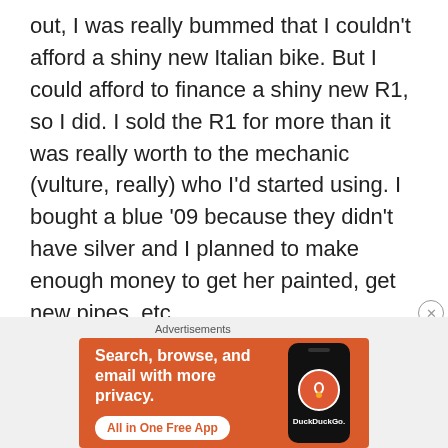out, I was really bummed that I couldn't afford a shiny new Italian bike. But I could afford to finance a shiny new R1, so I did. I sold the R1 for more than it was really worth to the mechanic (vulture, really) who I'd started using. I bought a blue '09 because they didn't have silver and I planned to make enough money to get her painted, get new pipes, etc...
[Figure (other): DuckDuckGo advertisement banner with orange background. Text reads: 'Search, browse, and email with more privacy. All in One Free App' with a DuckDuckGo logo on a phone graphic.]